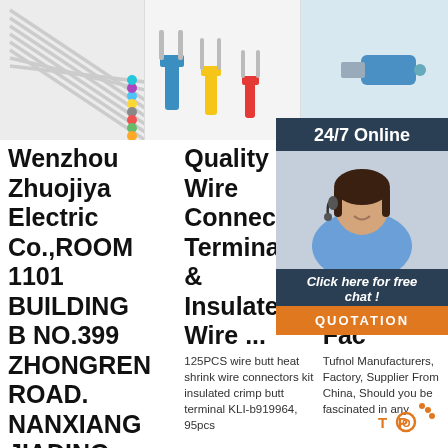[Figure (photo): Multiple colored wire connectors/terminals fanned out showing multicolored ends]
[Figure (photo): Three spade/fork wire terminal connectors: blue, yellow, red]
[Figure (photo): Single blue bullet/pin wire connector terminal]
[Figure (infographic): 24/7 Online chat support overlay with woman wearing headset, Click here for free chat button, QUOTATION button in orange]
Wenzhou Zhuojiya Electric Co.,ROOM 1101 BUILDING B NO.399 ZHONGREN ROAD. NANXIANG JIADING SHANGHA
Quality Wire Connectors Terminals & Insulated Wire ...
125PCS wire butt heat shrink wire connectors kit insulated crimp butt terminal KLI-b919964, 95pcs
High Qua Tufnol Man and Sup Fac
Tufnol Manufacturers, Factory, Supplier From China, Should you be fascinated in any